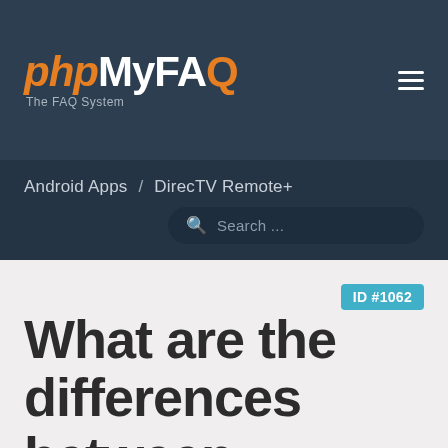[Figure (logo): phpMyFAQ logo — 'php' in orange italic, 'My' in white, 'FAQ' in white with orange circle on Q, tagline 'The FAQ System' below]
Android Apps / DirecTV Remote+
Search ...
What are the differences between DirecTV Remote+